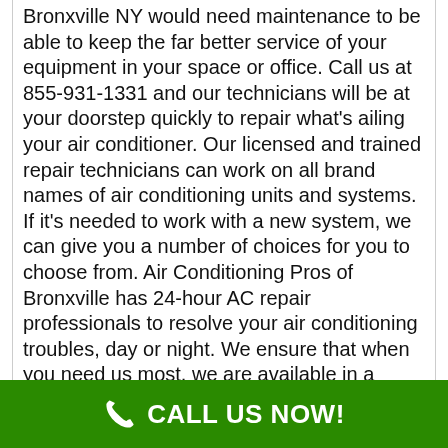Bronxville NY would need maintenance to be able to keep the far better service of your equipment in your space or office. Call us at 855-931-1331 and our technicians will be at your doorstep quickly to repair what's ailing your air conditioner. Our licensed and trained repair technicians can work on all brand names of air conditioning units and systems. If it's needed to work with a new system, we can give you a number of choices for you to choose from. Air Conditioning Pros of Bronxville has 24-hour AC repair professionals to resolve your air conditioning troubles, day or night. We ensure that when you need us most, we are available in a timely manner. You don't have to rest in an exceedingly hot place, right? Give us a call right now to get your AC serviced so you can rest comfortably tonight.Quality as its best is the tagline of our air conditioning services we provide. That's because we believe in honesty, ethics, teamwork, and accountability. Before the tasks are initiated, free in-home estimates will be offered by our AC repair
CALL US NOW!